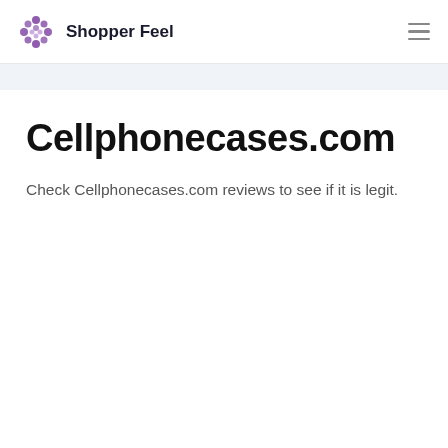Shopper Feel
Cellphonecases.com
Check Cellphonecases.com reviews to see if it is legit.